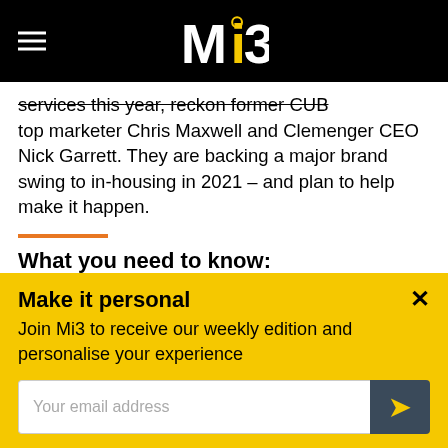Mi3
services this year, reckon former CUB top marketer Chris Maxwell and Clemenger CEO Nick Garrett. They are backing a major brand swing to in-housing in 2021 – and plan to help make it happen.
What you need to know:
Former CUB Marketing Director and Connections
Make it personal
Join Mi3 to receive our weekly edition and personalise your experience
Your email address